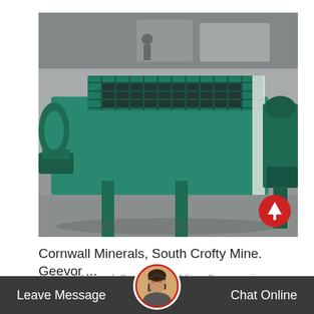[Figure (photo): A large green industrial mining machine (flotation cell or ball mill) photographed in a factory/warehouse setting. The machine is dark teal/green in color, cylindrical in shape with a gridded top surface, positioned on a concrete floor with workers and other equipment visible in the background.]
Cornwall Minerals, South Crofty Mine. Geevor ...
Cornwall Mineral, South Crofty Mine. Geevor mine minerals, Camponite, No... are UK mined...
Leave Message   Chat Online